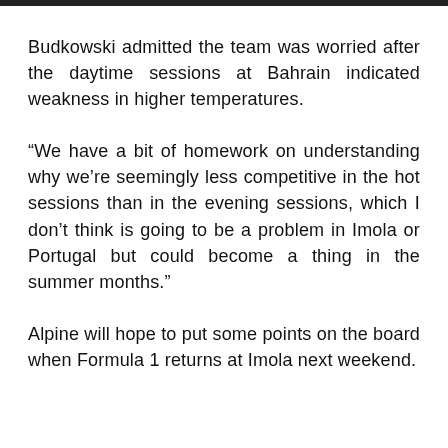Budkowski admitted the team was worried after the daytime sessions at Bahrain indicated weakness in higher temperatures.
“We have a bit of homework on understanding why we’re seemingly less competitive in the hot sessions than in the evening sessions, which I don’t think is going to be a problem in Imola or Portugal but could become a thing in the summer months.”
Alpine will hope to put some points on the board when Formula 1 returns at Imola next weekend.